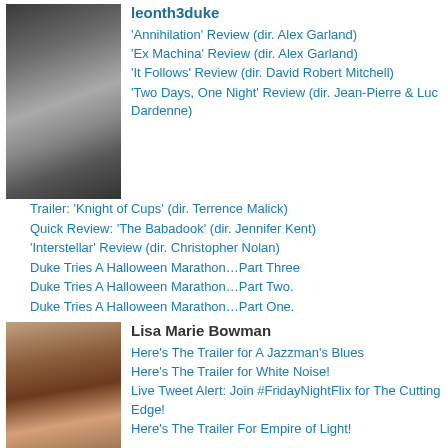[Figure (photo): Black and white photo of a man in sunglasses and suit]
leonth3duke
'Annihilation' Review (dir. Alex Garland)
'Ex Machina' Review (dir. Alex Garland)
'It Follows' Review (dir. David Robert Mitchell)
'Two Days, One Night' Review (dir. Jean-Pierre & Luc Dardenne)
Trailer: 'Knight of Cups' (dir. Terrence Malick)
Quick Review: 'The Babadook' (dir. Jennifer Kent)
'Interstellar' Review (dir. Christopher Nolan)
Duke Tries A Halloween Marathon…Part Three
Duke Tries A Halloween Marathon…Part Two.
Duke Tries A Halloween Marathon…Part One.
[Figure (photo): Photo of a woman with long dark hair]
Lisa Marie Bowman
Here's The Trailer for A Jazzman's Blues
Here's The Trailer for White Noise!
Live Tweet Alert: Join #FridayNightFlix for The Cutting Edge!
Here's The Trailer For Empire of Light!
What Lisa Marie Watched Last Night #222: Banzai Runner (dir by John G. Thomas)